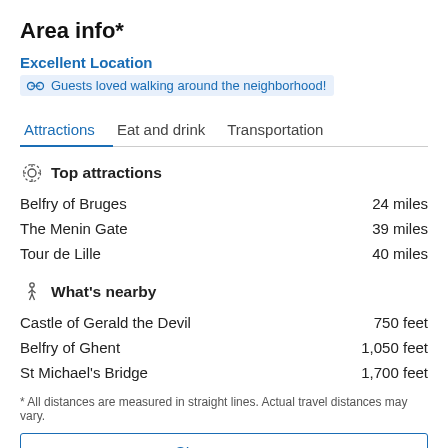Area info*
Excellent Location
Guests loved walking around the neighborhood!
Attractions   Eat and drink   Transportation
Top attractions
Belfry of Bruges   24 miles
The Menin Gate   39 miles
Tour de Lille   40 miles
What's nearby
Castle of Gerald the Devil   750 feet
Belfry of Ghent   1,050 feet
St Michael's Bridge   1,700 feet
* All distances are measured in straight lines. Actual travel distances may vary.
Show on map